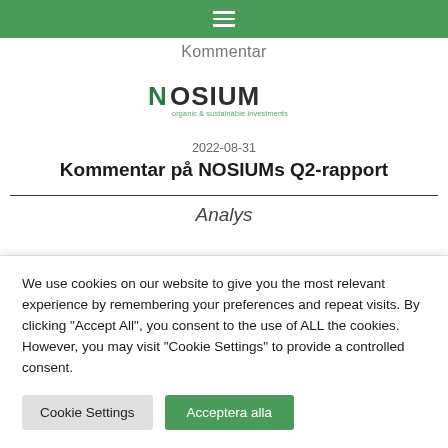Kommentar
[Figure (logo): NOSIUM logo — text 'NOSIUM' in teal/dark color with tagline 'organic & sustainable investments']
2022-08-31
Kommentar på NOSIUMs Q2-rapport
Analys
We use cookies on our website to give you the most relevant experience by remembering your preferences and repeat visits. By clicking "Accept All", you consent to the use of ALL the cookies. However, you may visit "Cookie Settings" to provide a controlled consent.